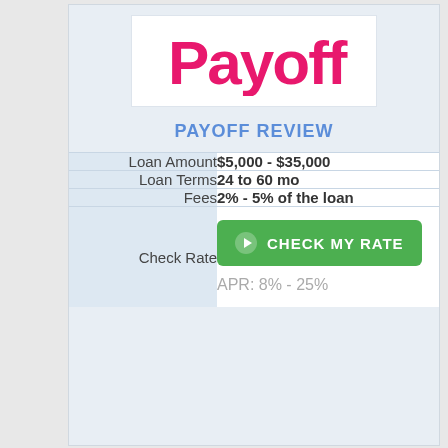[Figure (logo): Payoff logo in hot pink/magenta on white background]
PAYOFF REVIEW
|  |  |
| --- | --- |
| Loan Amount | $5,000 - $35,000 |
| Loan Terms | 24 to 60 mo |
| Fees | 2% - 5% of the loan |
| Check Rate | CHECK MY RATE
APR: 8% - 25% |